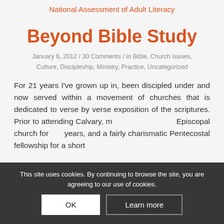National Assessment of Adult Literacy
Beyond Bible Study
January 6, 2012 / 30 Comments / in Bible, Church Issues, Culture, Discipleship, Ministry, Practice, Uncategorized
For 21 years I've grown up in, been discipled under and now served within a movement of churches that is dedicated to verse by verse exposition of the scriptures. Prior to attending Calvary, m... Episcopal church for ... years, and a fairly charismatic Pentecostal fellowship for a short
This site uses cookies. By continuing to browse the site, you are agreeing to our use of cookies.